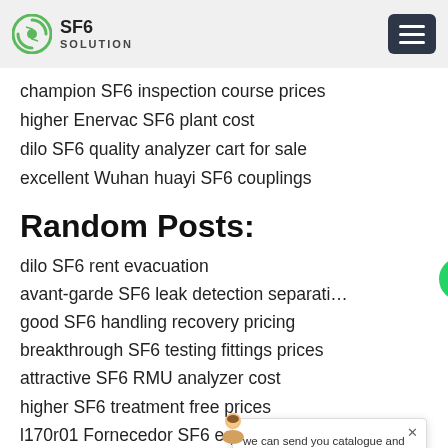SF6 SOLUTION
champion SF6 inspection course prices
higher Enervac SF6 plant cost
dilo SF6 quality analyzer cart for sale
excellent Wuhan huayi SF6 couplings
Random Posts:
dilo SF6 rent evacuation
avant-garde SF6 leak detection separati…
good SF6 handling recovery pricing
breakthrough SF6 testing fittings prices
attractive SF6 RMU analyzer cost
higher SF6 treatment free prices
l170r01 Fornecedor SF6 equipment manufacturers
gru-7 SF6 product handling manufacturers
[Figure (screenshot): Chat popup widget with avatar, text 'we can send you catalogue and price list for you choosing. Leave us your email or whatsapp.', SF6 Expert online indicator, write/like/attachment icons, and green WhatsApp circle button with notification badge]